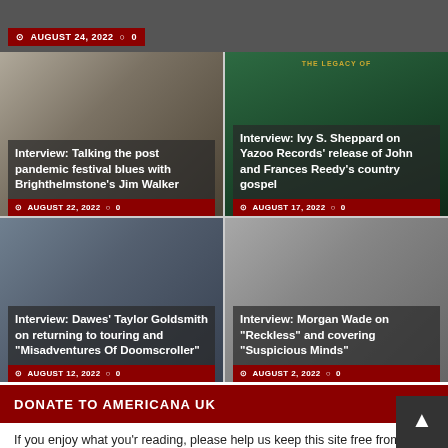AUGUST 24, 2022  0
[Figure (photo): Article card: Interview about post pandemic festival blues with Brighthelmstone's Jim Walker. Photo of a person silhouette. Date: AUGUST 22, 2022. Comments: 0.]
[Figure (photo): Article card: Interview with Ivy S. Sheppard on Yazoo Records' release of John and Frances Reedy's country gospel. Green background with book cover. Date: AUGUST 17, 2022. Comments: 0.]
[Figure (photo): Article card: Interview with Dawes' Taylor Goldsmith on returning to touring and Misadventures Of Doomscroller. Date: AUGUST 12, 2022. Comments: 0.]
[Figure (photo): Article card: Interview with Morgan Wade on Reckless and covering Suspicious Minds. Date: AUGUST 2, 2022. Comments: 0.]
DONATE TO AMERICANA UK
If you enjoy what you'r reading, please help us keep this site free from annoying pop-up ads by donating to our running